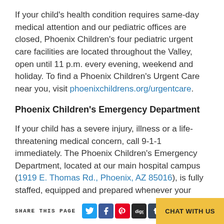If your child's health condition requires same-day medical attention and our pediatric offices are closed, Phoenix Children's four pediatric urgent care facilities are located throughout the Valley, open until 11 p.m. every evening, weekend and holiday. To find a Phoenix Children's Urgent Care near you, visit phoenixchildrens.org/urgentcare.
Phoenix Children's Emergency Department
If your child has a severe injury, illness or a life-threatening medical concern, call 9-1-1 immediately. The Phoenix Children's Emergency Department, located at our main hospital campus (1919 E. Thomas Rd., Phoenix, AZ 85016), is fully staffed, equipped and prepared whenever your child needs us most.
SHARE THIS PAGE